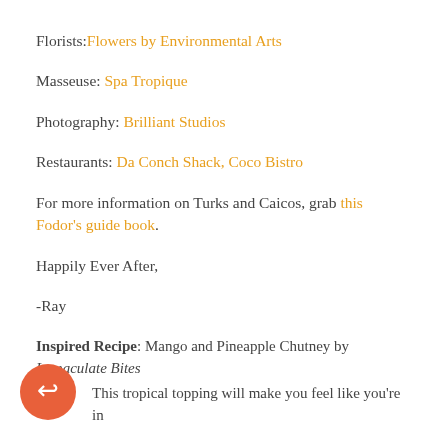Florists: Flowers by Environmental Arts
Masseuse: Spa Tropique
Photography: Brilliant Studios
Restaurants: Da Conch Shack, Coco Bistro
For more information on Turks and Caicos, grab this Fodor's guide book.
Happily Ever After,
-Ray
Inspired Recipe: Mango and Pineapple Chutney by Immaculate Bites
This tropical topping will make you feel like you're in